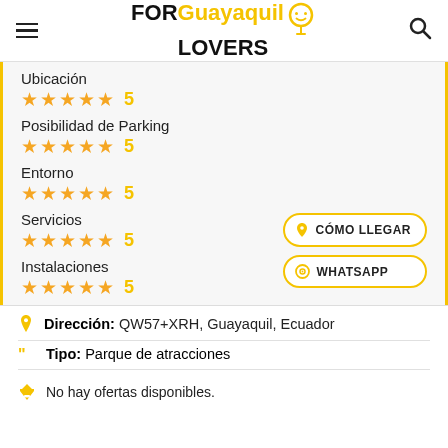FOR Guayaquil LOVERS
Ubicación ★★★★★ 5
Posibilidad de Parking ★★★★★ 5
Entorno ★★★★★ 5
Servicios ★★★★★ 5
Instalaciones ★★★★★ 5
Dirección: QW57+XRH, Guayaquil, Ecuador
Tipo: Parque de atracciones
No hay ofertas disponibles.